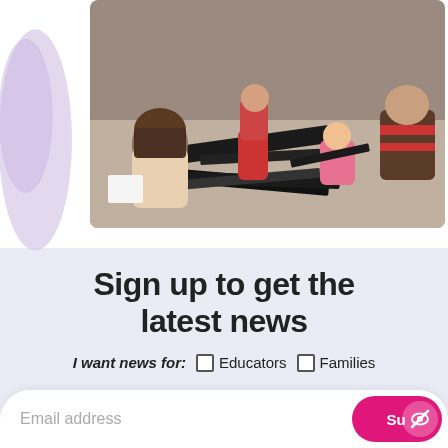[Figure (photo): Children sitting on the floor in a circle looking at photographs or materials spread out on the ground. One child faces away with long brown hair, another wears red pants, others sit in a circle including a child in a striped brown and red shirt.]
Sign up to get the latest news
I want news for:  ☐ Educators  ☐ Families
Email address  [Submit button]